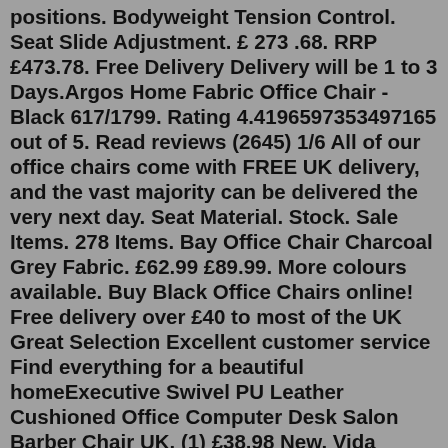positions. Bodyweight Tension Control. Seat Slide Adjustment. £ 273 .68. RRP £473.78. Free Delivery Delivery will be 1 to 3 Days.Argos Home Fabric Office Chair - Black 617/1799. Rating 4.4196597353497165 out of 5. Read reviews (2645) 1/6 All of our office chairs come with FREE UK delivery, and the vast majority can be delivered the very next day. Seat Material. Stock. Sale Items. 278 Items. Bay Office Chair Charcoal Grey Fabric. £62.99 £89.99. More colours available. Buy Black Office Chairs online! Free delivery over £40 to most of the UK Great Selection Excellent customer service Find everything for a beautiful homeExecutive Swivel PU Leather Cushioned Office Computer Desk Salon Barber Chair UK. (1) £38.98 New. Vida Designs 3331240 Accent Chair - 3331240 (Black) £46.99 New.The high-back office chair provides extended height to support your upper back and help relieve back tension. A waterfall front seat edge removes pressure on your lower legs, to help improve circulation during long hours at your desk. Easily